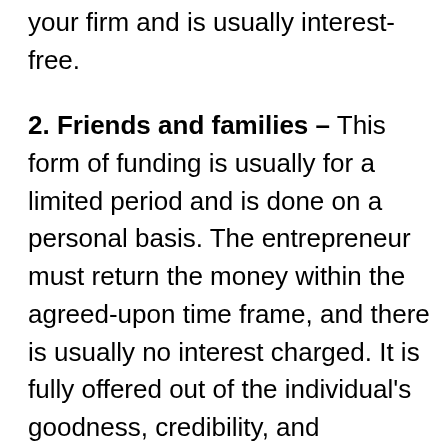your firm and is usually interest-free.
2. Friends and families – This form of funding is usually for a limited period and is done on a personal basis. The entrepreneur must return the money within the agreed-upon time frame, and there is usually no interest charged. It is fully offered out of the individual's goodness, credibility, and relationship connection.
3. Angel investors – In exchange for equity in the company, a single investor or a group of investors could pool their resources to participate in small business investment. Despite the modest amount